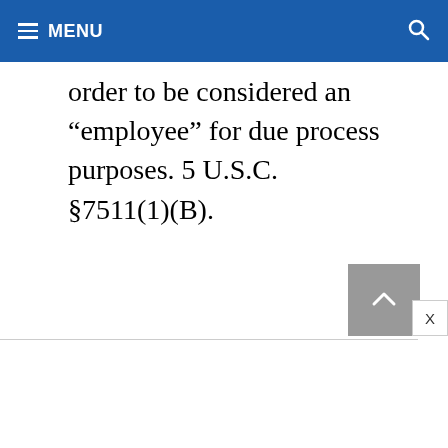MENU
order to be considered an “employee” for due process purposes. 5 U.S.C. §7511(1)(B).